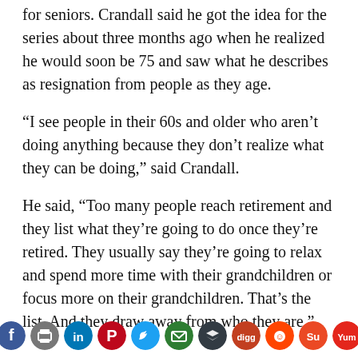for seniors. Crandall said he got the idea for the series about three months ago when he realized he would soon be 75 and saw what he describes as resignation from people as they age.
“I see people in their 60s and older who aren’t doing anything because they don’t realize what they can be doing,” said Crandall.
He said, “Too many people reach retirement and they list what they’re going to do once they’re retired. They usually say they’re going to relax and spend more time with their grandchildren or focus more on their grandchildren. That’s the list. And they draw away from who they are.”
[Figure (infographic): Social sharing icons: Facebook (blue), Print (gray), LinkedIn (dark blue), Pinterest (red), Twitter (light blue), Email (dark green), Buffer/layers (dark gray), Digg (orange-red), Reddit (orange-red), StumbleUpon (orange), Yummly (red)]